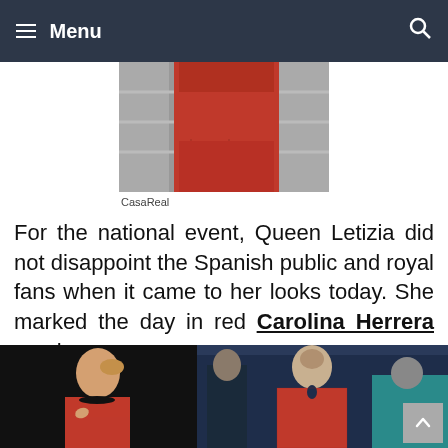Menu
[Figure (photo): Close-up photo of Queen Letizia in red Carolina Herrera outfit holding a red clutch bag, with stone wall background]
CasaReal
For the national event, Queen Letizia did not disappoint the Spanish public and royal fans when it came to her looks today. She marked the day in red Carolina Herrera number.
[Figure (photo): Model wearing red lace sleeveless dress by Carolina Herrera, dark background]
[Figure (photo): Back view of Queen Letizia in red lace dress at event, people in background]